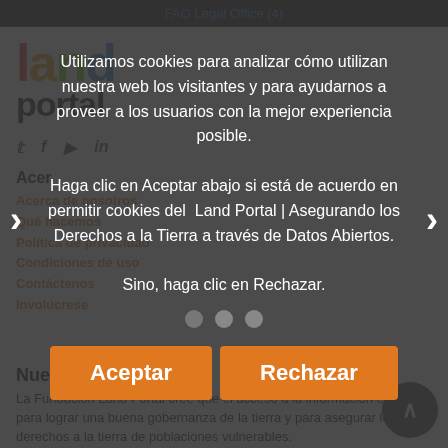FAO Legal Office (4)
[Figure (logo): Land Portal logo with colorful letters and 'portal' text below]
Acerca de nosotros
Acerca de nosotros
Qué hacemos
Política de privacidad
Condiciones de uso
Contáctenos
Involúcrese
Utilizamos cookies para analizar cómo utilizan nuestra web los visitantes y para ayudarnos a proveer a los usuarios con la mejor experiencia posible.
Haga clic en Aceptar abajo si está de acuerdo en permitir cookies del  Land Portal | Asegurando los Derechos a la Tierra a través de Datos Abiertos.
Sino, haga clic en Rechazar.
Nuestra misión
La Fundación Land Portal cree que el acceso a la información es crucial para lograr una buena gobernanza de la tierra y para asegurar los derechos a la tierra de poblaciones vulnerables.